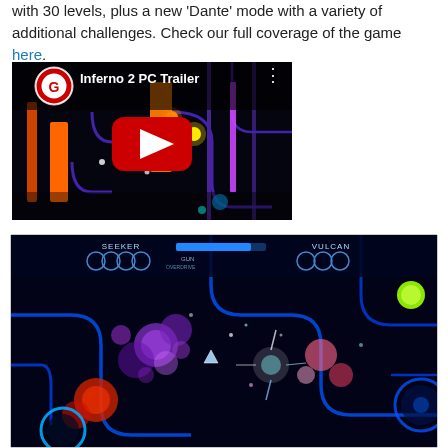with 30 levels, plus a new 'Dante' mode with a variety of additional challenges. Check our full coverage of the game here.
[Figure (screenshot): YouTube embedded video thumbnail for 'Inferno 2 PC Trailer' showing a dark neon game scene with a large red play button in the center. The video is from the Gamespot channel (G logo).]
[Figure (screenshot): In-game screenshot of Inferno 2 showing a top-down view with glowing neon circles, explosions and projectiles on a dark background with blue neon maze walls. HUD shows SEEKER and VULCAN labels at the top.]